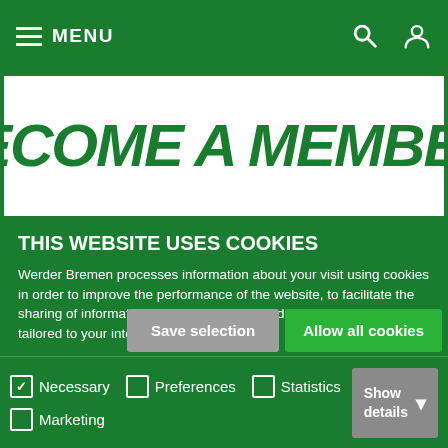MENU
[Figure (screenshot): BECOME A MEMBER. website banner with green text on white background]
THIS WEBSITE USES COOKIES
Werder Bremen processes information about your visit using cookies in order to improve the performance of the website, to facilitate the sharing of information in social networks and to offer advertising tailored to your interests.
Please notice that visualization issues might occur due to technical reasons in case not all cookies are enabled.
Choose "Show Details" if you want to learn more about the cookies used on our website.
Save selection | Allow all cookies
Necessary (checked), Preferences, Statistics, Marketing — Show details